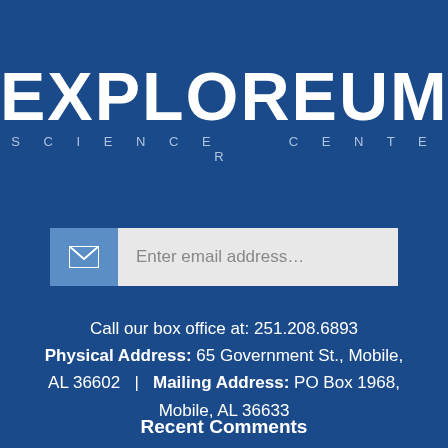[Figure (logo): Exploreum Science Center logo with large white bold EXPLOREUM text and spaced subtitle SCIENCE CENTER on dark blue background]
[Figure (infographic): Email input bar with blue envelope icon on left and light gray input field with placeholder text 'Enter email address...']
Call our box office at: 251.208.6893
Physical Address: 65 Government St., Mobile, AL 36602   |   Mailing Address: PO Box 1968, Mobile, AL 36633
Recent Comments